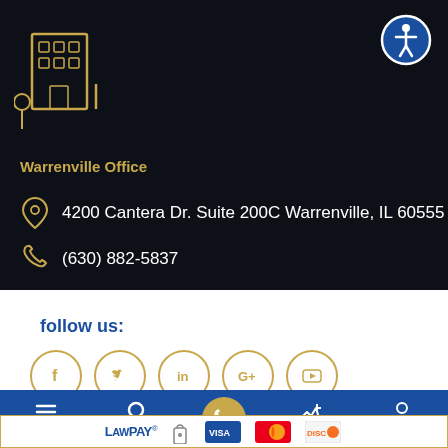[Figure (logo): Building/law firm logo icon in gold outline on dark background]
[Figure (illustration): Accessibility icon - person in circle, blue outlined circle on dark background]
Warrenville Office
4200 Cantera Dr. Suite 200C Warrenville, IL 60555
(630) 882-5837
follow us:
[Figure (illustration): Social media icons in gold circles: Facebook, Twitter, LinkedIn, Google+, YouTube]
Menu | Search | [Phone] | Contact | Attorneys
[Figure (logo): LawPay logo with payment card icons: Visa, Mastercard, Discover]